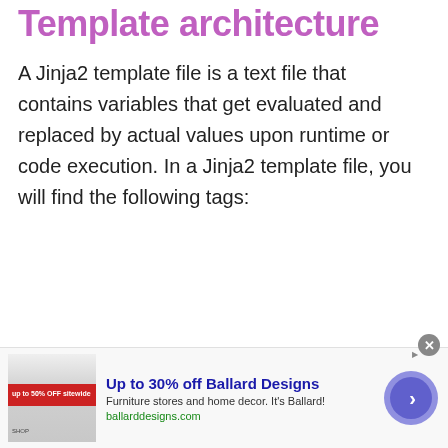Template architecture
A Jinja2 template file is a text file that contains variables that get evaluated and replaced by actual values upon runtime or code execution. In a Jinja2 template file, you will find the following tags:
[Figure (other): Advertisement banner for Ballard Designs: 'Up to 30% off Ballard Designs' with furniture store image, headline, subtext 'Furniture stores and home decor. It’s Ballard!', URL 'ballarddesigns.com', and a purple arrow button.]